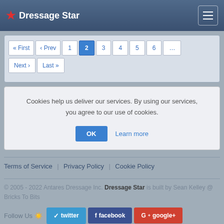Dressage Star
« First ‹ Prev 1 2 3 4 5 6 … Next › Last »
Cookies help us deliver our services. By using our services, you agree to our use of cookies.
OK  Learn more
Terms of Service | Privacy Policy | Cookie Policy
© 2005 - 2022 Antares Dressage Inc. Dressage Star is built by Sean Kelley @ Bricks To Bits
Follow Us   twitter   facebook   google+